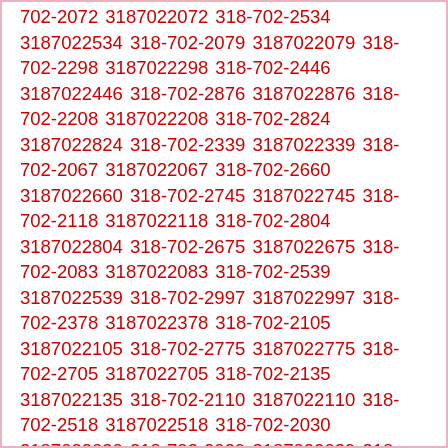702-2072 3187022072 318-702-2534 3187022534 318-702-2079 3187022079 318-702-2298 3187022298 318-702-2446 3187022446 318-702-2876 3187022876 318-702-2208 3187022208 318-702-2824 3187022824 318-702-2339 3187022339 318-702-2067 3187022067 318-702-2660 3187022660 318-702-2745 3187022745 318-702-2118 3187022118 318-702-2804 3187022804 318-702-2675 3187022675 318-702-2083 3187022083 318-702-2539 3187022539 318-702-2997 3187022997 318-702-2378 3187022378 318-702-2105 3187022105 318-702-2775 3187022775 318-702-2705 3187022705 318-702-2135 3187022135 318-702-2110 3187022110 318-702-2518 3187022518 318-702-2030 3187022030 318-702-2039 3187022039 318-702-2743 3187022743 318-702-2146 3187022146 318-702-2350 3187022350 318-702-2689 3187022689 318-702-2295 3187022295 318-702-2383 3187022383 318-